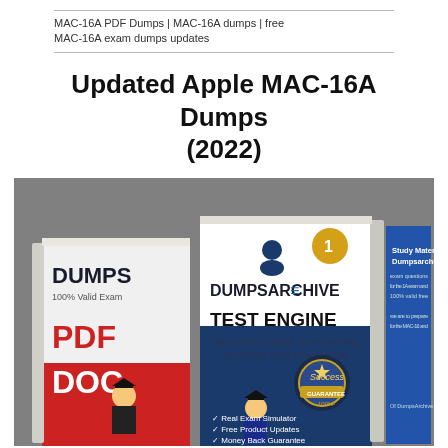MAC-16A PDF Dumps | MAC-16A dumps | free MAC-16A exam dumps updates
Updated Apple MAC-16A Dumps (2022)
[Figure (photo): Product image showing two book covers for DumpsArchive MAC-16A exam preparation materials. Left book shows PDF DOC with a graduation student illustration. Right/center book shows DumpsArchive Test Engine Practice Test Software with Success 100% Guarantee badge and bullet points: Real Exam Simulator, Free Product Updates, Money Back Guarantee. Right side panel shows Study Material Dumpsarchive.]